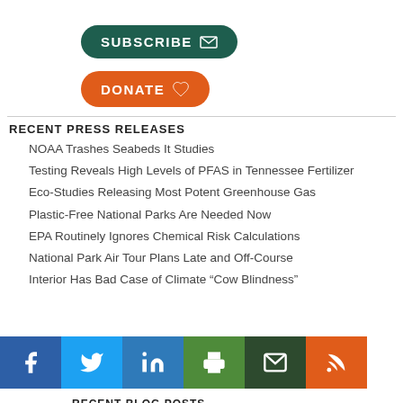[Figure (other): Green SUBSCRIBE button with envelope icon]
[Figure (other): Orange DONATE button with heart icon]
NOAA Trashes Seabeds It Studies
Testing Reveals High Levels of PFAS in Tennessee Fertilizer
Eco-Studies Releasing Most Potent Greenhouse Gas
Plastic-Free National Parks Are Needed Now
EPA Routinely Ignores Chemical Risk Calculations
National Park Air Tour Plans Late and Off-Course
Interior Has Bad Case of Climate “Cow Blindness”
RECENT PRESS RELEASES
RECENT BLOG POSTS
[Figure (other): Social media icon bar: Facebook, Twitter, LinkedIn, Print, Email, RSS]